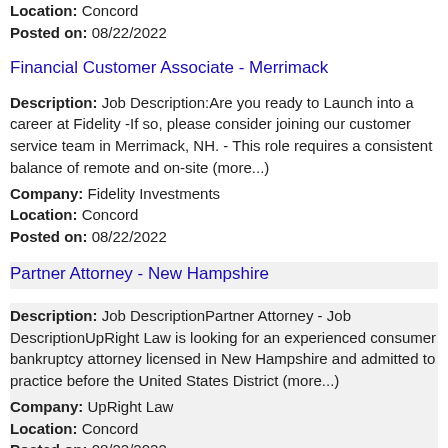Location: Concord
Posted on: 08/22/2022
Financial Customer Associate - Merrimack
Description: Job Description:Are you ready to Launch into a career at Fidelity -If so, please consider joining our customer service team in Merrimack, NH. - This role requires a consistent balance of remote and on-site (more...)
Company: Fidelity Investments
Location: Concord
Posted on: 08/22/2022
Partner Attorney - New Hampshire
Description: Job DescriptionPartner Attorney - Job DescriptionUpRight Law is looking for an experienced consumer bankruptcy attorney licensed in New Hampshire and admitted to practice before the United States District (more...)
Company: UpRight Law
Location: Concord
Posted on: 08/22/2022
Citizens Banker
Description: Description Starting Salary: 20 / hour and up Citizens Bankers devote their time getting to know their customers and